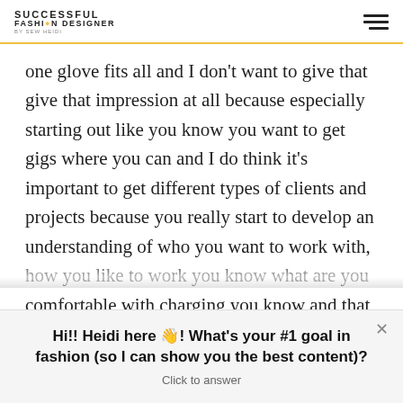SUCCESSFUL FASHION DESIGNER BY SEW HEIDI
one glove fits all and I don't want to give that give that impression at all because especially starting out like you know you want to get gigs where you can and I do think it's important to get different types of clients and projects because you really start to develop an understanding of who you want to work with, how you like to work you know what are you comfortable with charging you know and that could
Hi!! Heidi here 👋! What's your #1 goal in fashion (so I can show you the best content)?
Click to answer